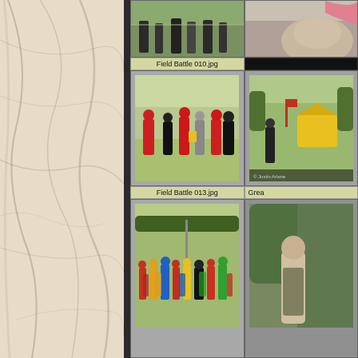[Figure (photo): Left marble/stone textured panel background]
[Figure (photo): Top partial photo: medieval field battle scene, people in costumes on grass]
[Figure (photo): Top right partial photo: partially visible, appears to show horse or similar]
Field Battle 010.jpg
(truncated/dark)
[Figure (photo): Field Battle 013.jpg - medieval reenactment battle on grass field, people in red and dark costumes fighting]
[Figure (photo): Great (truncated) - outdoor scene with tents and costumed figures]
Field Battle 013.jpg
Grea
[Figure (photo): Bottom left: large group in colorful medieval costumes on grass field]
[Figure (photo): Bottom right: partial view of costumed figure outdoors]